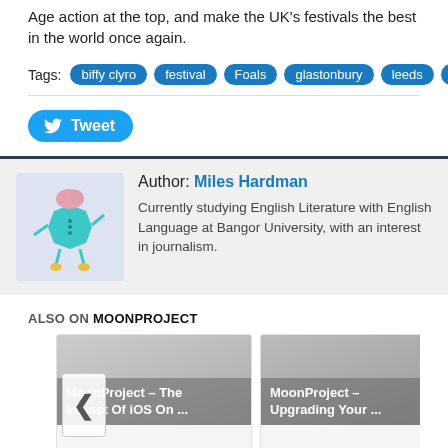Age action at the top, and make the UK's festivals the best in the world once again.
Tags: biffy clyro  festival  Foals  glastonbury  leeds  Music  paramore  reading
Tweet
Author: Miles Hardman
Currently studying English Literature with English Language at Bangor University, with an interest in journalism.
ALSO ON MOONPROJECT
[Figure (screenshot): Two article cards: 'MoonProject – The Impact Of iOS On ...' and 'MoonProject – Upgrading Your ...' with a back arrow navigation button on the left.]